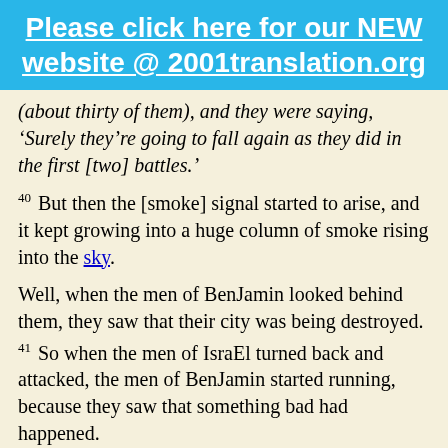Please click here for our NEW website @ 2001translation.org
(about thirty of them), and they were saying, ‘Surely they’re going to fall again as they did in the first [two] battles.’
40 But then the [smoke] signal started to arise, and it kept growing into a huge column of smoke rising into the sky.
Well, when the men of BenJamin looked behind them, they saw that their city was being destroyed.
41 So when the men of IsraEl turned back and attacked, the men of BenJamin started running, because they saw that something bad had happened.
42 Then they retreated all the way into the desert